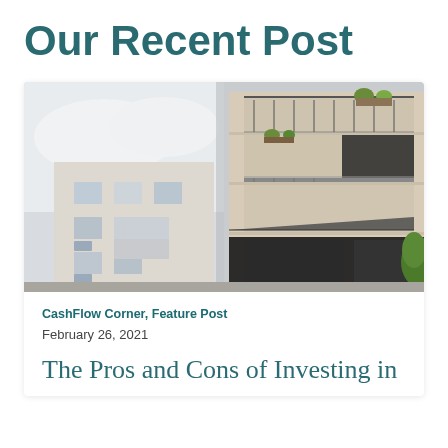Our Recent Post
[Figure (photo): Photograph of two apartment buildings side by side: a white older building on the left and a beige modern multi-story building with balconies on the right]
CashFlow Corner, Feature Post
February 26, 2021
The Pros and Cons of Investing in Multifamily Housing